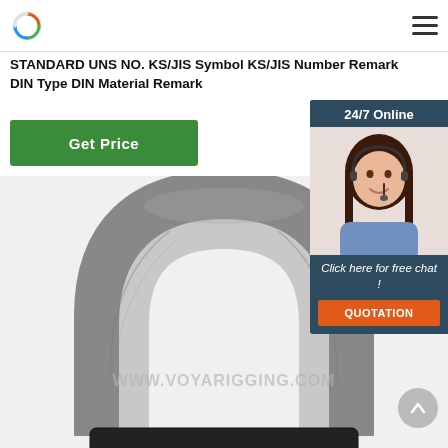Logo and navigation header
STANDARD UNS NO. KS/JIS Symbol KS/JIS Number Remark DIN Type DIN Material Remark
Get Price
[Figure (photo): Close-up photograph of a large galvanized steel D-ring shackle / bow shackle hardware component, metallic grey textured surface with watermark text WWW.VOYARIGGING.COM]
[Figure (photo): Chat widget showing a female customer service representative wearing a headset, with 24/7 Online label, Click here for free chat text, and QUOTATION button]